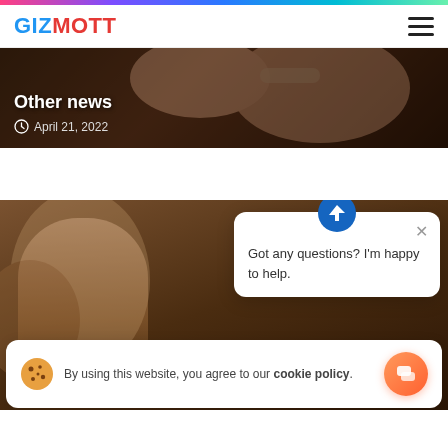GIZMOTT
[Figure (photo): Dark news card image with arms/people in background, showing 'Other news' heading and date April 21, 2022]
Other news
April 21, 2022
[Figure (photo): Blurred photo of a person with brown hair, overlaid with a chat popup saying 'Got any questions? I'm happy to help.' and a cookie consent bar]
Got any questions? I'm happy to help.
By using this website, you agree to our cookie policy.